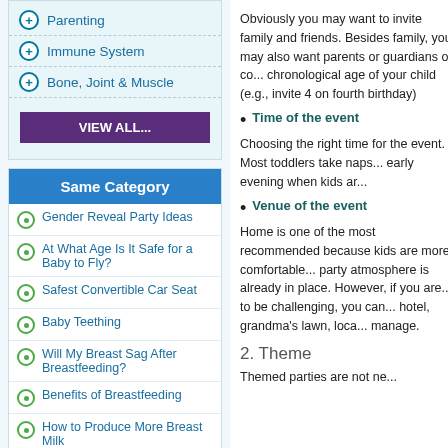Parenting
Immune System
Bone, Joint & Muscle
VIEW ALL...
Same Category
Gender Reveal Party Ideas
At What Age Is It Safe for a Baby to Fly?
Safest Convertible Car Seat
Baby Teething
Will My Breast Sag After Breastfeeding?
Benefits of Breastfeeding
How to Produce More Breast Milk
Foods Babies Should Avoid
Obviously you may want to invite family and friends. Besides family, you may also want parents or guardians of co... chronological age of your child (e.g., invite 4 on fourth birthday)
Time of the event
Choosing the right time for the event. Most toddlers take naps... early evening when kids ar...
Venue of the event
Home is one of the most recommended because kids are more comfortable... party atmosphere is already in place. However, if you are... to be challenging, you can... hotel, grandma's lawn, loca... manage.
2. Theme
Themed parties are not ne...